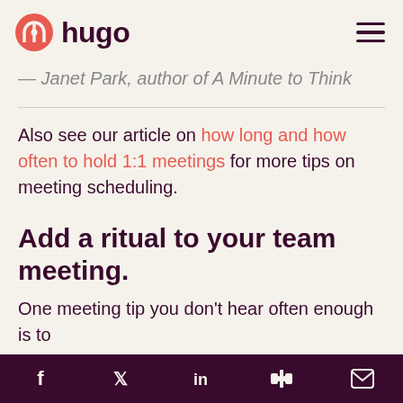hugo
— Janet Park, author of A Minute to Think
Also see our article on how long and how often to hold 1:1 meetings for more tips on meeting scheduling.
Add a ritual to your team meeting.
One meeting tip you don't hear often enough is to
f  t  in  slack  mail